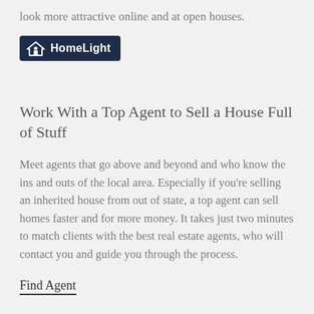look more attractive online and at open houses.
[Figure (logo): HomeLight logo — white house icon and text 'HomeLight' on a dark navy background]
Work With a Top Agent to Sell a House Full of Stuff
Meet agents that go above and beyond and who know the ins and outs of the local area. Especially if you're selling an inherited house from out of state, a top agent can sell homes faster and for more money. It takes just two minutes to match clients with the best real estate agents, who will contact you and guide you through the process.
Find Agent